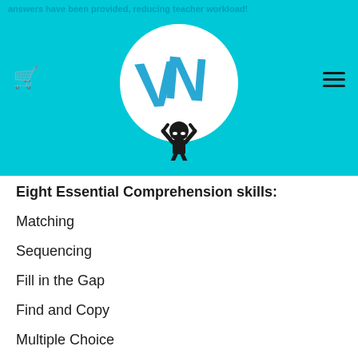answers have been provided, reducing teacher workload!
[Figure (logo): Vocab Ninja logo - white circle with 'VN' letters in blue and a ninja figure, on a teal background]
Eight Essential Comprehension skills:
Matching
Sequencing
Fill in the Gap
Find and Copy
Multiple Choice
Underline